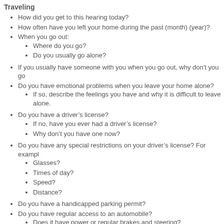Traveling
How did you get to this hearing today?
How often have you left your home during the past (month) (year)?
When you go out:
Where do you go?
Do you usually go alone?
If you usually have someone with you when you go out, why don't you go
Do you have emotional problems when you leave your home alone?
If so, describe the feelings you have and why it is difficult to leave alone.
Do you have a driver’s license?
If no, have you ever had a driver’s license?
Why don’t you have one now?
Do you have any special restrictions on your driver’s license? For exampl
Glasses?
Times of day?
Speed?
Distance?
Do you have a handicapped parking permit?
Do you have regular access to an automobile?
Does it have power or regular brakes and steering?
Does it have a standard or automatic transmission?
How is driving different for you now than before your health problems bec
How often do you drive?